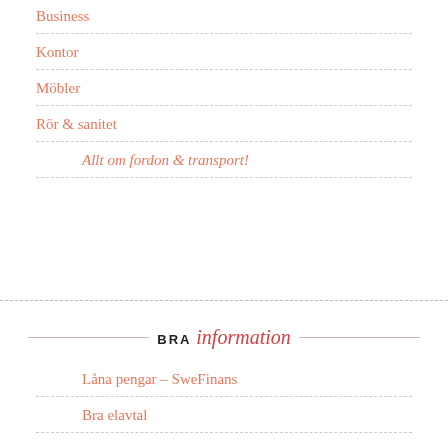Business
Kontor
Möbler
Rör & sanitet
Allt om fordon & transport!
BRA information
Låna pengar – SweFinans
Bra elavtal